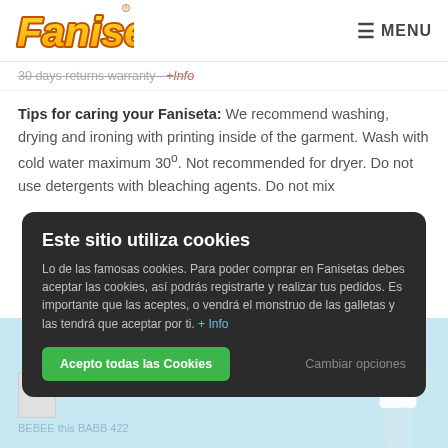[Figure (logo): Fanisetas logo in orange/yellow italic bold font with registered trademark symbol]
≡ MENU
30 days returns warranty · +Info
Tips for caring your Faniseta: We recommend washing, drying and ironing with printing inside of the garment. Wash with cold water maximum 30º. Not recommended for dryer. Do not use detergents with bleaching agents. Do not mix
Este sitio utiliza cookies
Lo de las famosas cookies. Para poder comprar en Fanisetas debes aceptar las cookies, así podrás registrarte y realizar tus pedidos. Es importante que las aceptes, o vendrá el monstruo de las galletas y las tendrá que aceptar por ti. + Info
Acepto todas las Cookies
Cambiar opciones